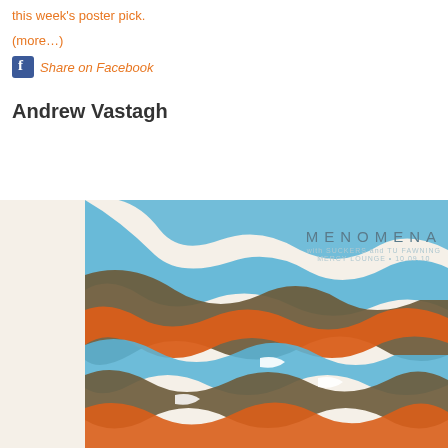this week's poster pick.
(more...)
Share on Facebook
Andrew Vastagh
[Figure (illustration): Concert poster for Menomena with Suckers and Tu Fawning at Mercy Lounge 10.09.10, featuring colorful wavy bands in blue, orange, brown and white.]